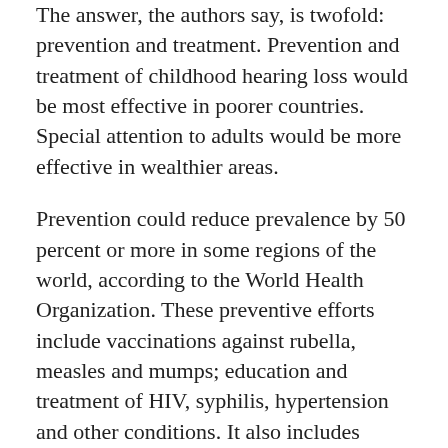The answer, the authors say, is twofold: prevention and treatment. Prevention and treatment of childhood hearing loss would be most effective in poorer countries. Special attention to adults would be more effective in wealthier areas.
Prevention could reduce prevalence by 50 percent or more in some regions of the world, according to the World Health Organization. These preventive efforts include vaccinations against rubella, measles and mumps; education and treatment of HIV, syphilis, hypertension and other conditions. It also includes maternal nutrition and neonatal care, attention to ototoxic drugs, and and universal hearing screening of infants. Chronic or acute otitis